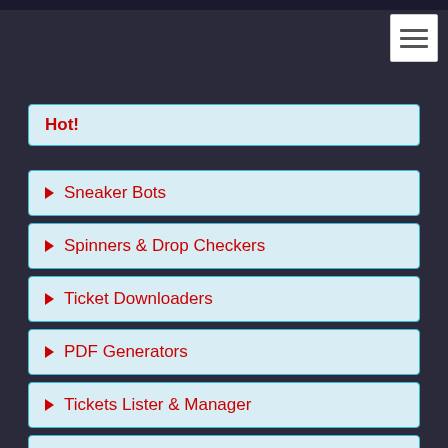Hot!
Sneaker Bots
Spinners & Drop Checkers
Ticket Downloaders
PDF Generators
Tickets Lister & Manager
For UK Brokers
Lottery Bots